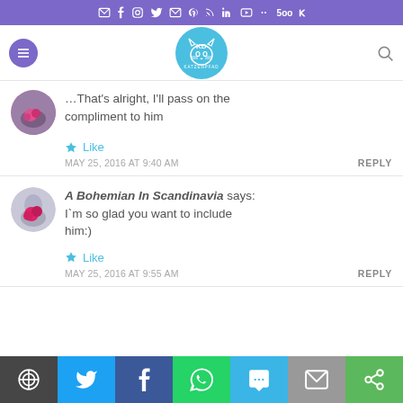Social media icon bar at top (email, facebook, instagram, twitter, email, pinterest, rss, linkedin, youtube, 500px, vk)
[Figure (logo): Blog logo circle with cat illustration, teal background, text KATZENPFAD]
...That's alright, I'll pass on the compliment to him
Like
MAY 25, 2016 AT 9:40 AM
REPLY
A Bohemian In Scandinavia says: I`m so glad you want to include him:)
Like
MAY 25, 2016 AT 9:55 AM
REPLY
Share bar: WordPress, Twitter, Facebook, WhatsApp, SMS, Email, Other